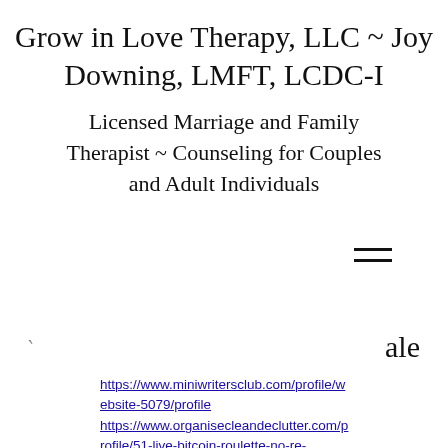Grow in Love Therapy, LLC ~ Joy Downing, LMFT, LCDC-I
Licensed Marriage and Family Therapist ~ Counseling for Couples and Adult Individuals
[Figure (other): Hamburger menu icon (three horizontal lines)]
ale
https://www.miniwritersclub.com/profile/website-5079/profile https://www.organisecleandeclutter.com/profile/51-live-bitcoin-roulette-no-re-1709/profile